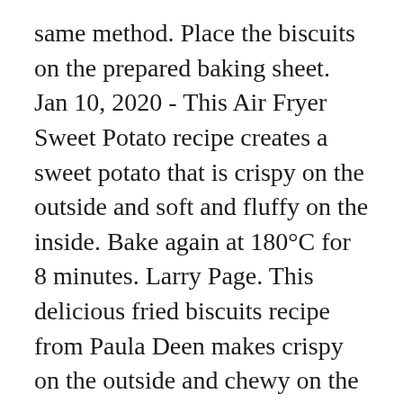same method. Place the biscuits on the prepared baking sheet. Jan 10, 2020 - This Air Fryer Sweet Potato recipe creates a sweet potato that is crispy on the outside and soft and fluffy on the inside. Bake again at 180°C for 8 minutes. Larry Page. This delicious fried biscuits recipe from Paula Deen makes crispy on the outside and chewy on the inside biscuit. I prefer the results of the air fryer vs baking these biscuits. Using an air fryer could not be easier. There's also less risk of burning the bottom of the biscuits in the air fryer. Serving Size. Pilih suhu 180 selama 15 minit; Sesudah masak, topping atas disapukan dengan butter & honey ketika masih panas, ya. In a separate